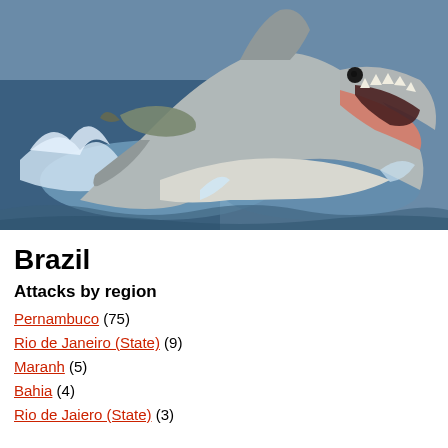[Figure (photo): Close-up photograph of a large shark with open mouth showing sharp teeth, leaping out of splashing ocean water, holding a fish in its jaws. Dark blue water visible in background.]
Brazil
Attacks by region
Pernambuco (75)
Rio de Janeiro (State) (9)
Maranh (5)
Bahia (4)
Rio de Jaiero (State) (3)